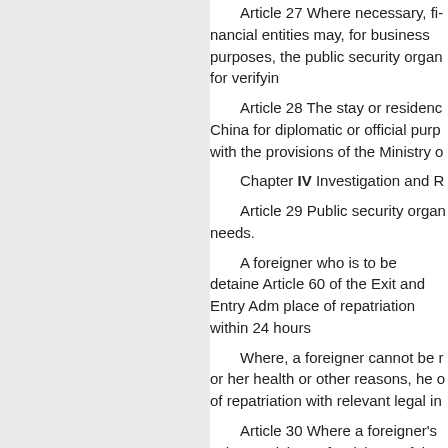Article 27 Where necessary, financial entities may, for business purposes, the public security organ for verifying
Article 28 The stay or residence in China for diplomatic or official purposes with the provisions of the Ministry of
Chapter IV Investigation and R
Article 29 Public security organ needs.
A foreigner who is to be detained Article 60 of the Exit and Entry Adm place of repatriation within 24 hours
Where, a foreigner cannot be or her health or other reasons, he of repatriation with relevant legal in
Article 30 Where a foreigner's the provisions of Article 61 of the E